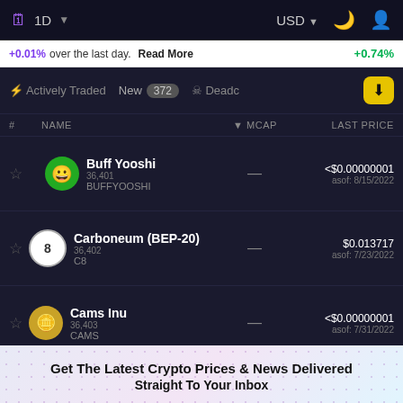1D | USD
+0.01% over the last day. Read More | +0.74%
Actively Traded | New 372 | Deadc
| # | NAME | MCAP | LAST PRICE |
| --- | --- | --- | --- |
| 36,401 | Buff Yooshi
BUFFYOOSHI | — | <$0.00000001
asof: 8/15/2022 |
| 36,402 | Carboneum (BEP-20)
C8 | — | $0.013717
asof: 7/23/2022 |
| 36,403 | Cams Inu
CAMS | — | <$0.00000001
asof: 7/31/2022 |
Get The Latest Crypto Prices & News Delivered Straight To Your Inbox